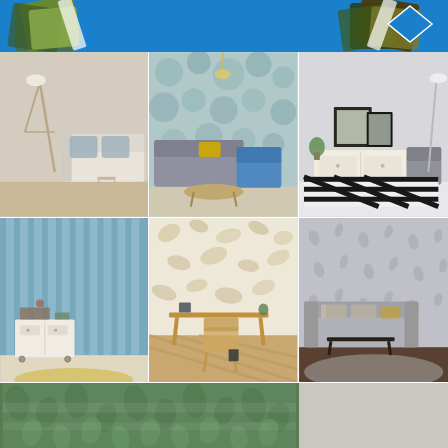[Figure (photo): Blue header banner with decorative wallpaper roll images on left and right sides]
[Figure (photo): Interior room scene with beige walls, white sofa, floor lamp, and small side tables]
[Figure (photo): Living room with blue/grey floral wallpaper accent wall, blue and grey sofas, yellow cushions, and pendant lights]
[Figure (photo): Modern room with light grey walls, white credenza, framed artwork, grey chair, and black/white striped rug]
[Figure (photo): Room with blue vertical stripe wallpaper, white side cabinet with drawers on wheels]
[Figure (photo): Home office with beige/gold botanical wallpaper, wooden desk, rattan chair, and small plant]
[Figure (photo): Living room with grey textured wallpaper, grey sofa, dark coffee table, and fur rug]
[Figure (photo): Partial view of a room with green/teal patterned wallpaper or flooring at the bottom of the page]